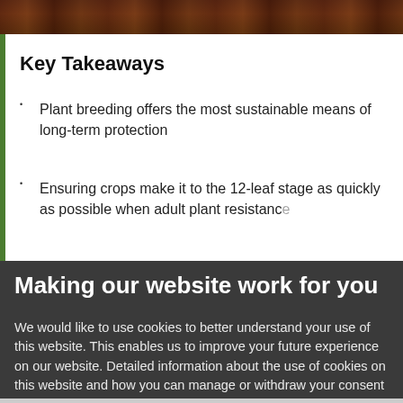[Figure (photo): Top banner image showing soil and plant debris, dark brown and reddish tones]
Key Takeaways
Plant breeding offers the most sustainable means of long-term protection
Ensuring crops make it to the 12-leaf stage as quickly as possible when adult plant resistance
Making our website work for you
We would like to use cookies to better understand your use of this website. This enables us to improve your future experience on our website. Detailed information about the use of cookies on this website and how you can manage or withdraw your consent at any time can be found in our Privacy Statement.